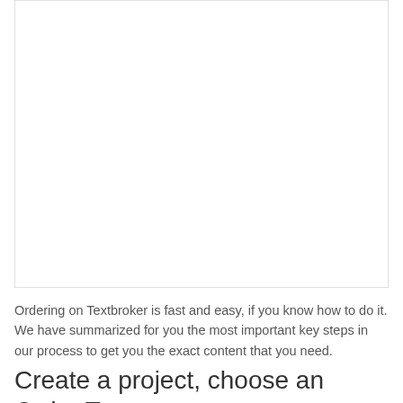[Figure (other): Large white/blank image area at the top of the page]
Ordering on Textbroker is fast and easy, if you know how to do it. We have summarized for you the most important key steps in our process to get you the exact content that you need.
Create a project, choose an Order Type